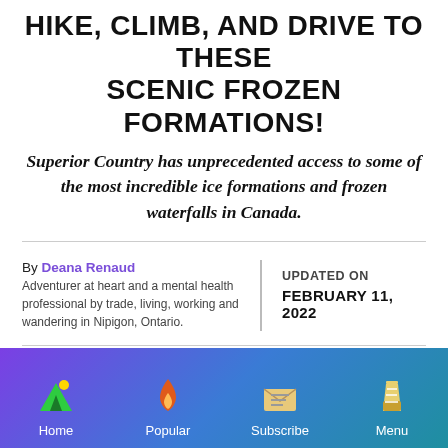HIKE, CLIMB, AND DRIVE TO THESE SCENIC FROZEN FORMATIONS!
Superior Country has unprecedented access to some of the most incredible ice formations and frozen waterfalls in Canada.
By Deana Renaud
Adventurer at heart and a mental health professional by trade, living, working and wandering in Nipigon, Ontario.
UPDATED ON
FEBRUARY 11, 2022
[Figure (infographic): Bottom navigation bar with gradient purple-to-teal background, showing four nav items: Home (green tent with yellow sun icon), Popular (red flame icon), Subscribe (envelope icon), Menu (flask/beaker icon). Each item has white label text below.]